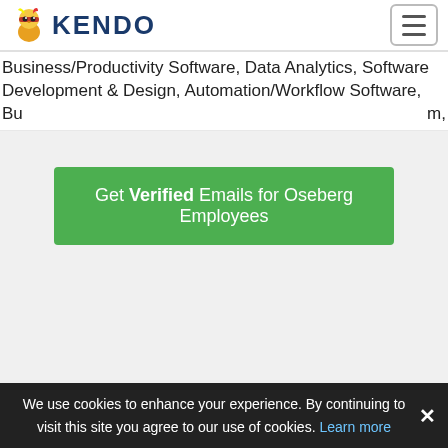KENDO
Business/Productivity Software, Data Analytics, Software Development & Design, Automation/Workflow Software, Bu m,
[Figure (other): Green CTA button: Get Verified Emails for Oseberg Employees]
Frequent questions about Oseberg
We use cookies to enhance your experience. By continuing to visit this site you agree to our use of cookies. Learn more